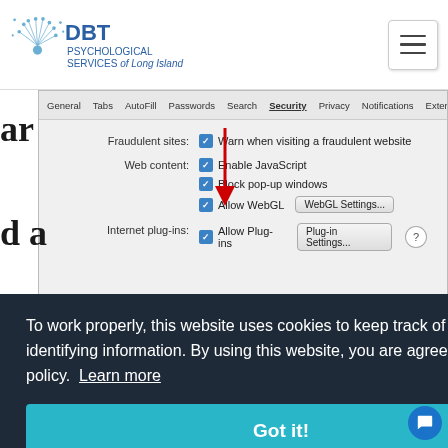[Figure (screenshot): DBT Psychological Services of Long Island website header with logo and hamburger menu button]
[Figure (screenshot): Safari browser Security preferences panel showing Fraudulent sites and Web content settings with a red arrow pointing to Enable JavaScript checkbox]
To work properly, this website uses cookies to keep track of non-personally identifying information. By using this website, you are agreeing to our cookie policy. Learn more
[Figure (screenshot): Got it! button in teal/cyan color for cookie consent]
logo using the branding feature.